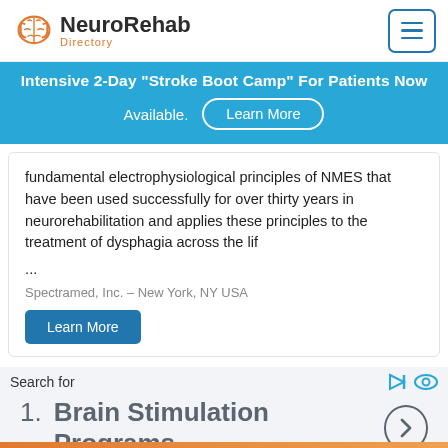[Figure (logo): NeuroRehab Directory logo with orange brain icon and bold text]
[Figure (infographic): Blue banner advertisement: Intensive 2-Day Stroke Boot Camp For Patients Now Available with Learn More button]
fundamental electrophysiological principles of NMES that have been used successfully for over thirty years in neurorehabilitation and applies these principles to the treatment of dysphagia across the lif
...
Spectramed, Inc. – New York, NY USA
Learn More
Search for
1.  Brain Stimulation Programs